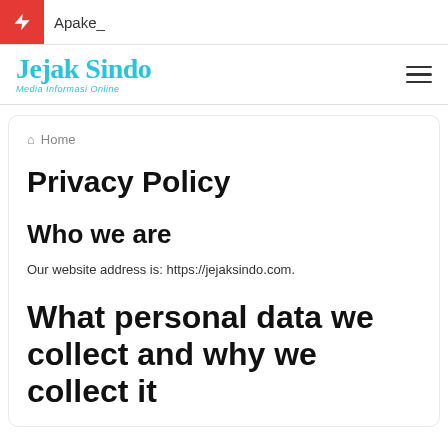Apake_
[Figure (logo): Jejak Sindo - Media Informasi Online logo in cyan/teal color]
Home
Privacy Policy
Who we are
Our website address is: https://jejaksindo.com.
What personal data we collect and why we collect it